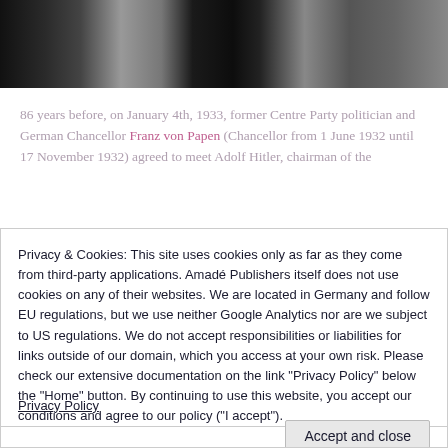[Figure (photo): Black and white historical photograph showing figures, cropped at top of page]
86 years before, on January 4th, 1933, former Centre Party politician and German Chancellor Franz von Papen (Chancellor from 1 June 1932 until 17 November 1932) agreed to meet Adolf Hitler, chairman of the
Privacy & Cookies: This site uses cookies only as far as they come from third-party applications. Amadé Publishers itself does not use cookies on any of their websites. We are located in Germany and follow EU regulations, but we use neither Google Analytics nor are we subject to US regulations. We do not accept responsibilities or liabilities for links outside of our domain, which you access at your own risk. Please check our extensive documentation on the link "Privacy Policy" below the "Home" button. By continuing to use this website, you accept our conditions and agree to our policy ("I accept").
Privacy Policy
Accept and close